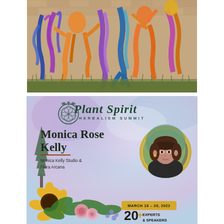[Figure (photo): Street mural on a brick wall showing colorful figures of people and animals (including a zebra-striped figure) in vibrant blues, purples, oranges, and yellows, painted in a dynamic, expressive style. Photographed outdoors with grass visible at the bottom.]
[Figure (illustration): Plant Spirit Herbalism Summit promotional graphic featuring: a circular botanical logo with the text 'Plant Spirit' in script and 'HERBALISM SUMMIT' in caps; speaker name 'Monica Rose Kelly'; affiliation 'Monica Kelly Studio & Flora Arcana'; a circular portrait photo of a woman with short dark hair and bangs; event dates 'MARCH 18 - 20, 2022'; '20+ EXPERTS & SPEAKERS' badge; botanical illustrations including sunflowers, roses, and other plants; watercolor background in purples and blues with pine trees.]